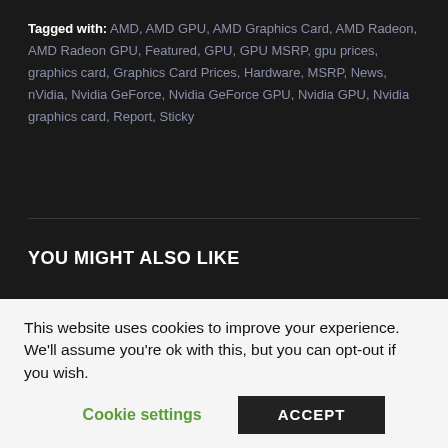Tagged with: AMD, AMD GPU, AMD Graphics Card, AMD Radeon, AMD Radeon GPU, Featured, GPU, GPU MSRP, gpu prices, graphics card, Graphics Card Prices, Hardware, MSRP, News, nVidia, Nvidia GeForce, Nvidia GeForce GPU, Nvidia GPU, Nvidia graphics card, Report, Sticky
YOU MIGHT ALSO LIKE
CORE
Intel Launches 12th Gen Alder Lake-PS CPUs For
This website uses cookies to improve your experience. We'll assume you're ok with this, but you can opt-out if you wish.
Cookie settings   ACCEPT